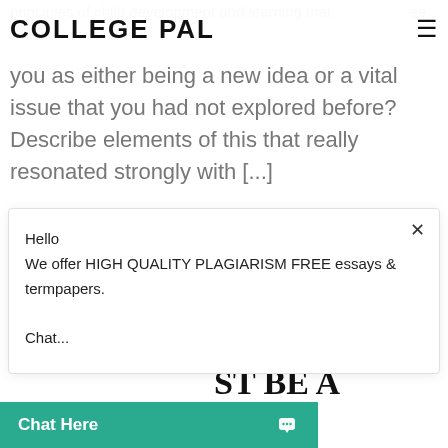COLLEGE PAL
principles of child development and learning that ... se, which of them struck you as either being a new idea or a vital issue that you had not explored before? Describe elements of this that really resonated strongly with [...]
August 17, 2022
Hello
We offer HIGH QUALITY PLAGIARISM FREE essays & termpapers.

Chat...
reference and support your thoughts ST BE A
Chat Here